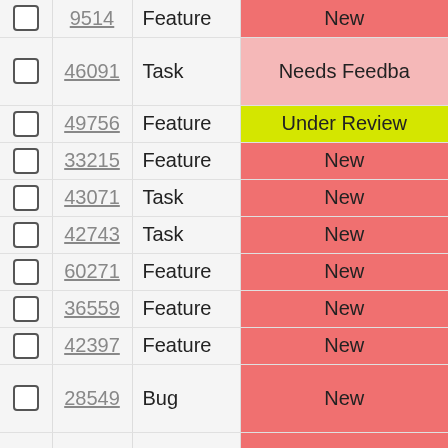|  | ID | Type | Status |
| --- | --- | --- | --- |
| ☐ | 9514 | Feature | New |
| ☐ | 46091 | Task | Needs Feedback |
| ☐ | 49756 | Feature | Under Review |
| ☐ | 33215 | Feature | New |
| ☐ | 43071 | Task | New |
| ☐ | 42743 | Task | New |
| ☐ | 60271 | Feature | New |
| ☐ | 36559 | Feature | New |
| ☐ | 42397 | Feature | New |
| ☐ | 28549 | Bug | New |
| ☐ | 57885 | Bug | New |
| ☐ | 56237 | Task | New |